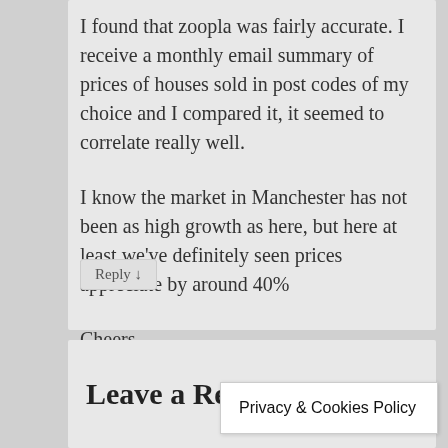I found that zoopla was fairly accurate. I receive a monthly email summary of prices of houses sold in post codes of my choice and I compared it, it seemed to correlate really well.
I know the market in Manchester has not been as high growth as here, but here at least we've definitely seen prices appreciate by around 40%
Cheers
Reply ↓
Leave a Re
Privacy & Cookies Policy